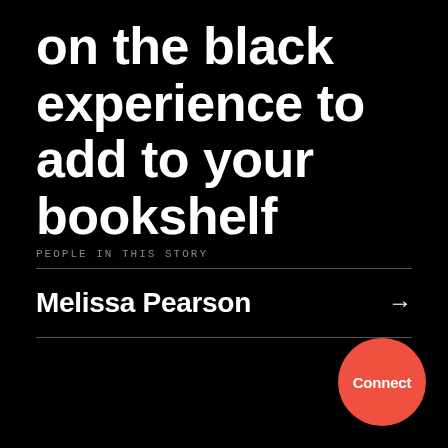on the black experience to add to your bookshelf
PEOPLE IN THIS STORY
Melissa Pearson →
[Figure (other): Red circular Connect button in bottom-right corner]